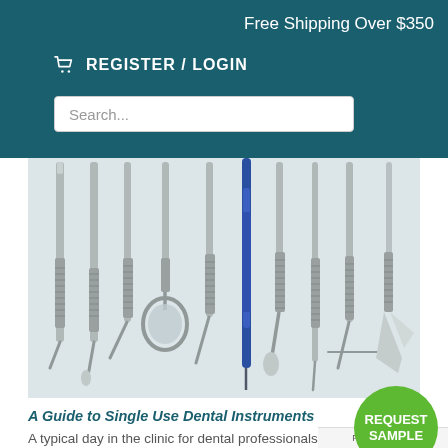Free Shipping Over $350
REGISTER / LOGIN
[Figure (photo): Flat lay of multiple stainless steel dental instruments including explorers, mirrors, scalers, curettes, and a blue-handled probe arranged in a row on a light background.]
A Guide to Single Use Dental Instruments
A typical day in the clinic for dental professionals involves multiple patient visits. All...
Privacy · Terms